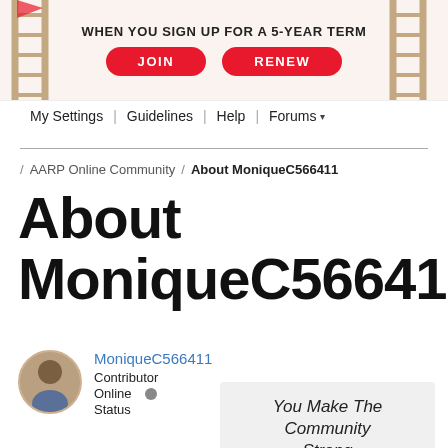[Figure (infographic): AARP banner with ladder graphics on sides, red JOIN and RENEW buttons, text: WHEN YOU SIGN UP FOR A 5-YEAR TERM]
My Settings | Guidelines | Help | Forums
/ AARP Online Community / About MoniqueC566411
About MoniqueC566411
MoniqueC566411
Contributor
Online
Status
You Make The Community Strong